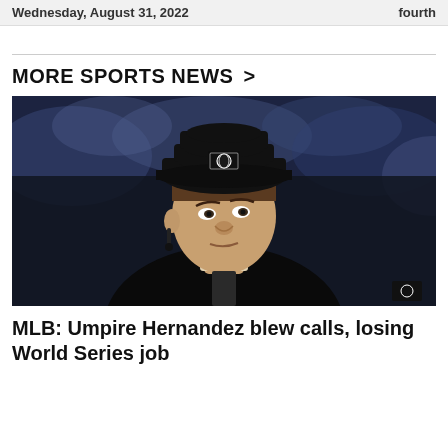Wednesday, August 31, 2022   fourth
MORE SPORTS NEWS >
[Figure (photo): Close-up photo of MLB umpire Angel Hernandez wearing a black cap with the MLB logo, looking upward with a serious expression, dressed in a black umpire jacket, blurred crowd in background.]
MLB: Umpire Hernandez blew calls, losing World Series job